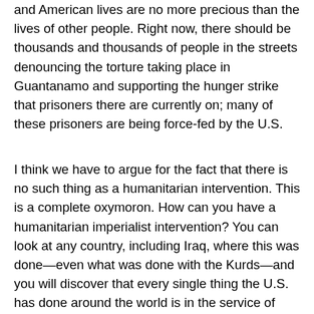and American lives are no more precious than the lives of other people. Right now, there should be thousands and thousands of people in the streets denouncing the torture taking place in Guantanamo and supporting the hunger strike that prisoners there are currently on; many of these prisoners are being force-fed by the U.S.
I think we have to argue for the fact that there is no such thing as a humanitarian intervention. This is a complete oxymoron. How can you have a humanitarian imperialist intervention? You can look at any country, including Iraq, where this was done—even what was done with the Kurds—and you will discover that every single thing the U.S. has done around the world is in the service of perpetuating its empire of exploitation and plunder in rivalry with